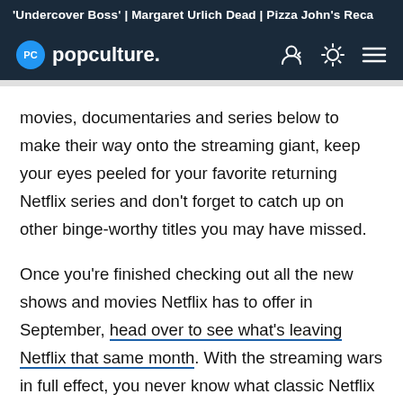'Undercover Boss' | Margaret Urlich Dead | Pizza John's Reca
PC popculture.
movies, documentaries and series below to make their way onto the streaming giant, keep your eyes peeled for your favorite returning Netflix series and don't forget to catch up on other binge-worthy titles you may have missed.
Once you're finished checking out all the new shows and movies Netflix has to offer in September, head over to see what's leaving Netflix that same month. With the streaming wars in full effect, you never know what classic Netflix staple could be leaving for another streamer. Continue reading to see what shows and movies are coming to